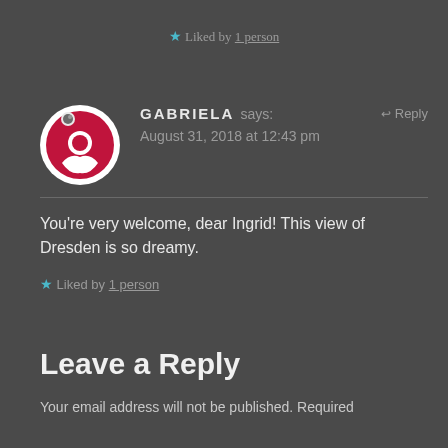★ Liked by 1 person
GABRIELA says: August 31, 2018 at 12:43 pm ↩ Reply
You're very welcome, dear Ingrid! This view of Dresden is so dreamy.
★ Liked by 1 person
Leave a Reply
Your email address will not be published. Required